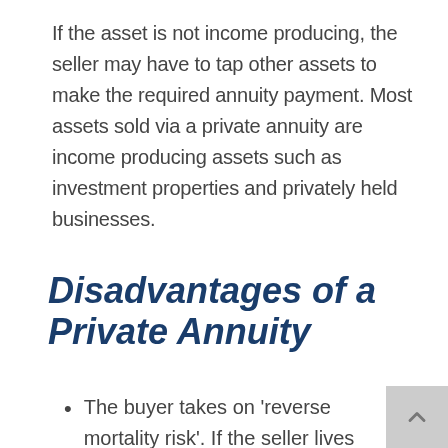If the asset is not income producing, the seller may have to tap other assets to make the required annuity payment. Most assets sold via a private annuity are income producing assets such as investment properties and privately held businesses.
Disadvantages of a Private Annuity
The buyer takes on 'reverse mortality risk'. If the seller lives longer than